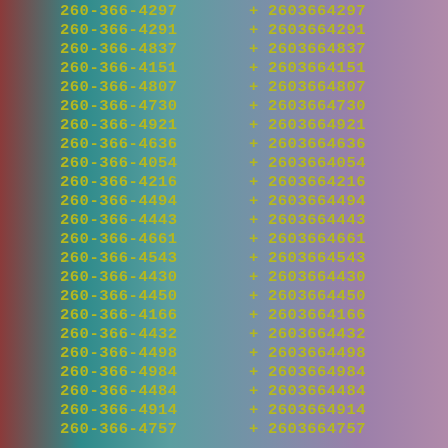260-366-4297 + 2603664297
260-366-4291 + 2603664291
260-366-4837 + 2603664837
260-366-4151 + 2603664151
260-366-4807 + 2603664807
260-366-4730 + 2603664730
260-366-4921 + 2603664921
260-366-4636 + 2603664636
260-366-4054 + 2603664054
260-366-4216 + 2603664216
260-366-4494 + 2603664494
260-366-4443 + 2603664443
260-366-4661 + 2603664661
260-366-4543 + 2603664543
260-366-4430 + 2603664430
260-366-4450 + 2603664450
260-366-4166 + 2603664166
260-366-4432 + 2603664432
260-366-4498 + 2603664498
260-366-4984 + 2603664984
260-366-4484 + 2603664484
260-366-4914 + 2603664914
260-366-4757 + 2603664757